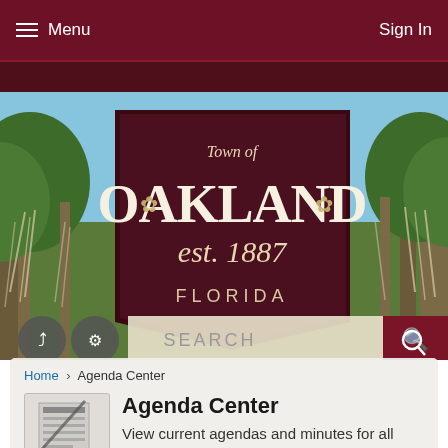Menu | Sign In
[Figure (screenshot): Town of Oakland Florida est. 1887 logo on a dark maroon shield-shaped background, with scenic trees and Spanish moss in the background hero image, plus a search bar]
Home › Agenda Center
Agenda Center
View current agendas and minutes for all